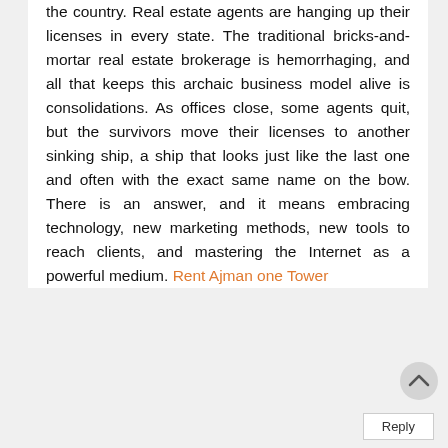the country. Real estate agents are hanging up their licenses in every state. The traditional bricks-and-mortar real estate brokerage is hemorrhaging, and all that keeps this archaic business model alive is consolidations. As offices close, some agents quit, but the survivors move their licenses to another sinking ship, a ship that looks just like the last one and often with the exact same name on the bow. There is an answer, and it means embracing technology, new marketing methods, new tools to reach clients, and mastering the Internet as a powerful medium. Rent Ajman one Tower